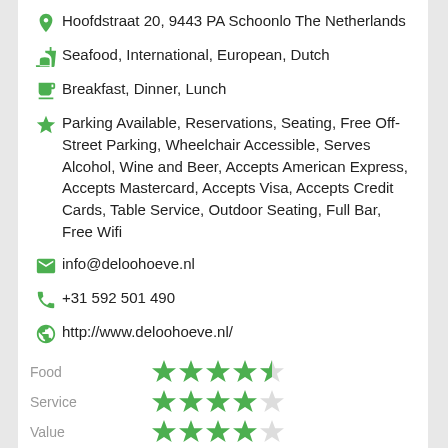Hoofdstraat 20, 9443 PA Schoonlo The Netherlands
Seafood, International, European, Dutch
Breakfast, Dinner, Lunch
Parking Available, Reservations, Seating, Free Off-Street Parking, Wheelchair Accessible, Serves Alcohol, Wine and Beer, Accepts American Express, Accepts Mastercard, Accepts Visa, Accepts Credit Cards, Table Service, Outdoor Seating, Full Bar, Free Wifi
info@deloohoeve.nl
+31 592 501 490
http://www.deloohoeve.nl/
Food 4.5 stars, Service 4 stars, Value 4 stars, Atmosphere 3.5 stars
Overall Ratings